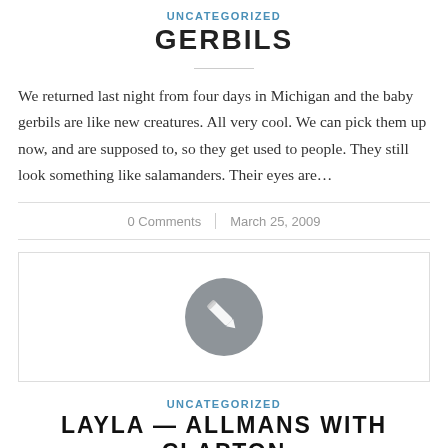UNCATEGORIZED
GERBILS
We returned last night from four days in Michigan and the baby gerbils are like new creatures. All very cool. We can pick them up now, and are supposed to, so they get used to people. They still look something like salamanders. Their eyes are…
0 Comments   March 25, 2009
[Figure (illustration): Gray circle with a pencil/edit icon in the center, inside a bordered box]
UNCATEGORIZED
LAYLA — ALLMANS WITH CLAPTON